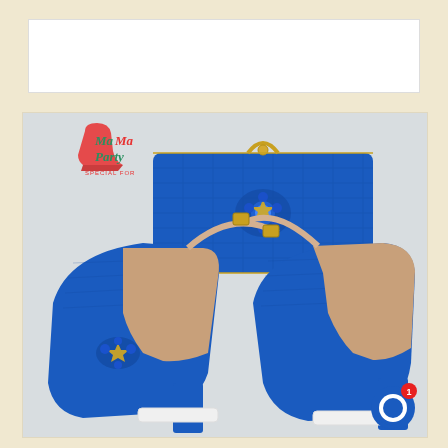[Figure (photo): White rectangular banner area at top of page]
[Figure (photo): Product photo of royal blue glitter pointed-toe slingback heels with jewel/crystal embellishment on toe, and matching royal blue croc-textured rectangular clutch bag with gold crystal brooch, displayed on white stand. MaMa Party logo with red high-heel silhouette in upper left corner of product image. Blue chat bubble icon with red notification badge (number 1) in bottom right corner.]